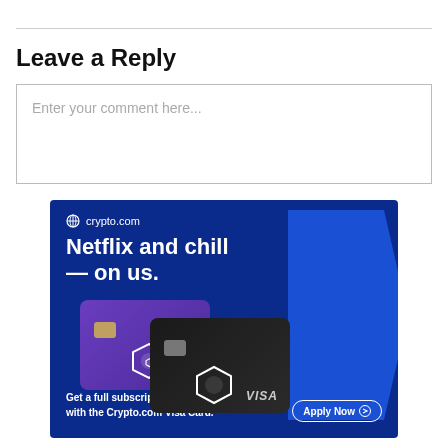Leave a Reply
Enter your comment here...
[Figure (illustration): Crypto.com Visa Card advertisement banner. Dark blue background with a right-pointing arrow shape. Shows two credit cards (purple and black) with the Crypto.com logo. Headline: 'Netflix and chill — on us.' Subtext: 'Get a full subscription rebate with the Crypto.com Visa Card.' Apply Now button with arrow icon.]